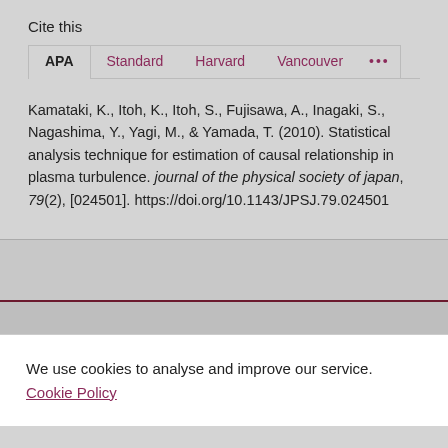Cite this
APA  Standard  Harvard  Vancouver  ...
Kamataki, K., Itoh, K., Itoh, S., Fujisawa, A., Inagaki, S., Nagashima, Y., Yagi, M., & Yamada, T. (2010). Statistical analysis technique for estimation of causal relationship in plasma turbulence. journal of the physical society of japan, 79(2), [024501]. https://doi.org/10.1143/JPSJ.79.024501
We use cookies to analyse and improve our service. Cookie Policy